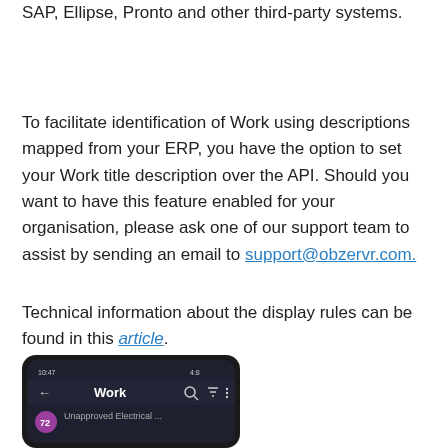SAP, Ellipse, Pronto and other third-party systems.
To facilitate identification of Work using descriptions mapped from your ERP, you have the option to set your Work title description over the API. Should you want to have this feature enabled for your organisation, please ask one of our support team to assist by sending an email to support@obzervr.com.
Technical information about the display rules can be found in this article.
[Figure (screenshot): Screenshot of a mobile phone screen showing the Work list screen in the ObzerVR app, with a back arrow, 'Work' title, and icons at the top, and a partially visible work item below.]